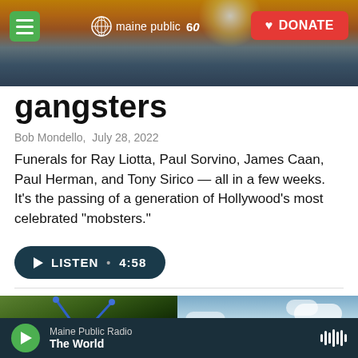maine public 60 | DONATE
gangsters
Bob Mondello,  July 28, 2022
Funerals for Ray Liotta, Paul Sorvino, James Caan, Paul Herman, and Tony Sirico — all in a few weeks. It's the passing of a generation of Hollywood's most celebrated "mobsters."
LISTEN • 4:58
[Figure (photo): Two-panel image: left panel shows animated ant with blue eyes peeking out from dark background (animated film still); right panel shows 'ANTZ' movie title text against blue sky background]
Maine Public Radio — The World